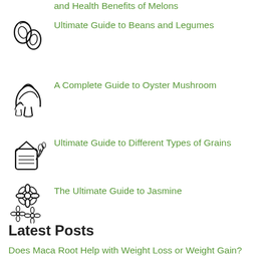and Health Benefits of Melons
Ultimate Guide to Beans and Legumes
A Complete Guide to Oyster Mushroom
Ultimate Guide to Different Types of Grains
The Ultimate Guide to Jasmine
Latest Posts
Does Maca Root Help with Weight Loss or Weight Gain?